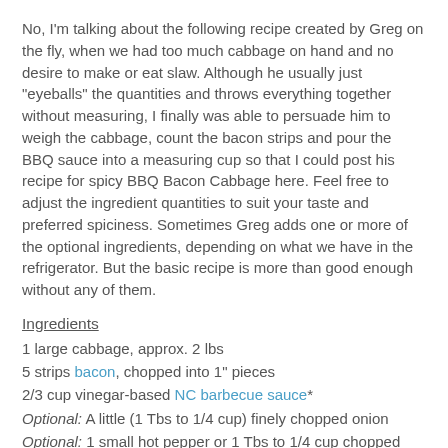No, I'm talking about the following recipe created by Greg on the fly, when we had too much cabbage on hand and no desire to make or eat slaw. Although he usually just "eyeballs" the quantities and throws everything together without measuring, I finally was able to persuade him to weigh the cabbage, count the bacon strips and pour the BBQ sauce into a measuring cup so that I could post his recipe for spicy BBQ Bacon Cabbage here. Feel free to adjust the ingredient quantities to suit your taste and preferred spiciness. Sometimes Greg adds one or more of the optional ingredients, depending on what we have in the refrigerator. But the basic recipe is more than good enough without any of them.
Ingredients
1 large cabbage, approx. 2 lbs
5 strips bacon, chopped into 1" pieces
2/3 cup vinegar-based NC barbecue sauce*
Optional: A little (1 Tbs to 1/4 cup) finely chopped onion
Optional: 1 small hot pepper or 1 Tbs to 1/4 cup chopped sweet/bell pepper
Optional: Freshly ground black pepper to taste